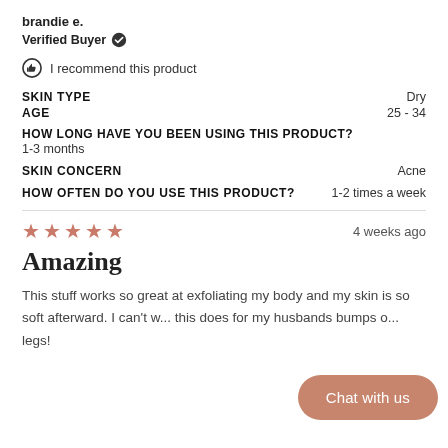brandie e.
Verified Buyer ✓
I recommend this product
| SKIN TYPE | Dry |
| AGE | 25 - 34 |
HOW LONG HAVE YOU BEEN USING THIS PRODUCT?
1-3 months
SKIN CONCERN  Acne
HOW OFTEN DO YOU USE THIS PRODUCT?  1-2 times a week
[Figure (other): 5 pink/salmon star rating icons]
4 weeks ago
Amazing
This stuff works so great at exfoliating my body and my skin is so soft afterward. I can't w... this does for my husbands bumps o... legs!